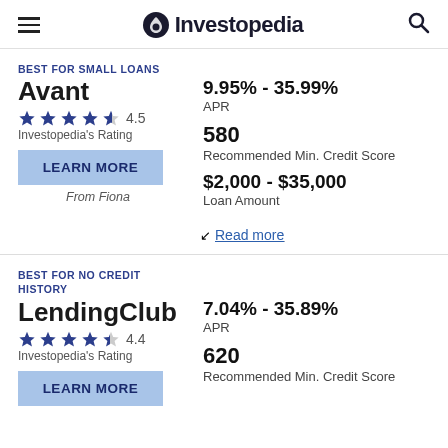Investopedia
BEST FOR SMALL LOANS
Avant
4.5 Investopedia's Rating
LEARN MORE
From Fiona
9.95% - 35.99% APR
580 Recommended Min. Credit Score
$2,000 - $35,000 Loan Amount
Read more
BEST FOR NO CREDIT HISTORY
LendingClub
4.4 Investopedia's Rating
LEARN MORE
7.04% - 35.89% APR
620 Recommended Min. Credit Score